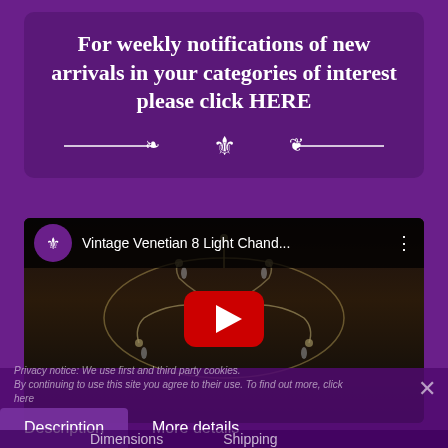For weekly notifications of new arrivals in your categories of interest please click HERE
[Figure (screenshot): YouTube video thumbnail showing a Vintage Venetian 8 Light Chandelier with play button overlay. Video title: 'Vintage Venetian 8 Light Chand...' Channel icon is a purple circle with fleur-de-lis.]
Description | More details
Privacy notice: We use first and third party cookies. By continuing to use this site you agree to their use. To find out more, click here
Dimensions | Shipping